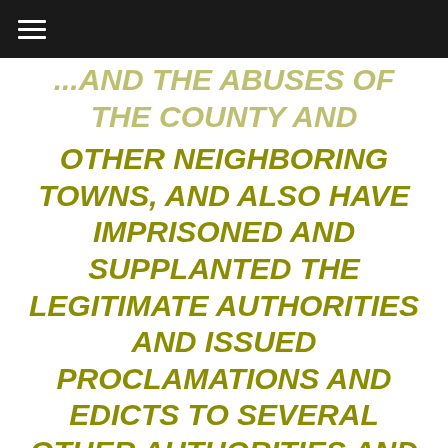≡
...AND ALSO OTHER NEIGHBORING TOWNS, AND ALSO HAVE IMPRISONED AND SUPPLANTED THE LEGITIMATE AUTHORITIES AND ISSUED PROCLAMATIONS AND EDICTS TO SEVERAL OTHER AUTHORITIES AND THE TROOPS OF THE KING, EITHER INTIMIDATING OR TRYING TO CAJOLE THEM AND CONCEALING THE TRUE OBJECTIVES OF YOUR ACTIONS BY SUCCESSIVELY SHOWING YOURSELF – DEPENDING ON THE OTHER PARTY – AS